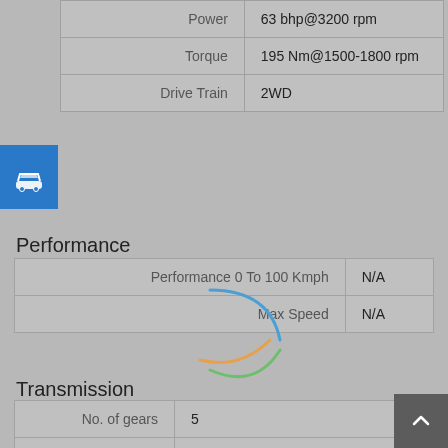| Spec | Value |
| --- | --- |
| Power | 63 bhp@3200 rpm |
| Torque | 195 Nm@1500-1800 rpm |
| Drive Train | 2WD |
Performance
| Spec | Value |
| --- | --- |
| Performance 0 To 100 Kmph | N/A |
| Max Speed | N/A |
Transmission
| Spec | Value |
| --- | --- |
| No. of gears | 5 |
| Clutch Type | Single Plate Dry Clutch |
Breaking System
| Spec | Value |
| --- | --- |
| Front Brake Type | Disc |
| Rear Brake Type | Drum |